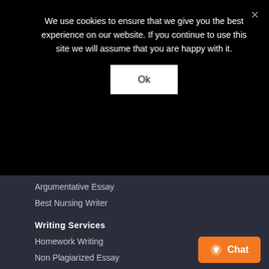We use cookies to ensure that we give you the best experience on our website. If you continue to use this site we will assume that you are happy with it.
Ok
Argumentative Essay
Best Nursing Writer
Writing Services
Homework Writing
Non Plagiarized Essay
Book Review
Research Proposal
Graduate Essay
Speech Writing
Essay Writing
Nursing online services
Nursing papers
Buy Nursing papers online
Write My Nursing paper
[Figure (other): Orange chat button with speech bubble icon and 'Chat' text]